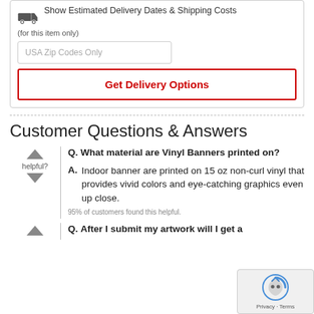[Figure (other): Shipping section with truck icon, 'Show Estimated Delivery Dates & Shipping Costs (for this item only)' label, USA Zip Codes Only input field, and Get Delivery Options button]
Customer Questions & Answers
Q. What material are Vinyl Banners printed on?
A. Indoor banner are printed on 15 oz non-curl vinyl that provides vivid colors and eye-catching graphics even up close.
95% of customers found this helpful.
Q. After I submit my artwork will I get a